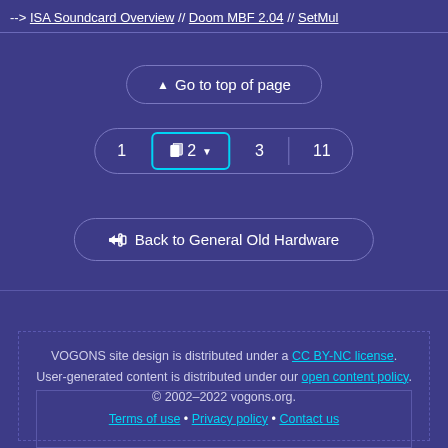--> ISA Soundcard Overview // Doom MBF 2.04 // SetMul
▲ Go to top of page
1  📄 2▼  3  |  11
⬅ Back to General Old Hardware
VOGONS site design is distributed under a CC BY-NC license. User-generated content is distributed under our open content policy. © 2002–2022 vogons.org. Terms of use • Privacy policy • Contact us